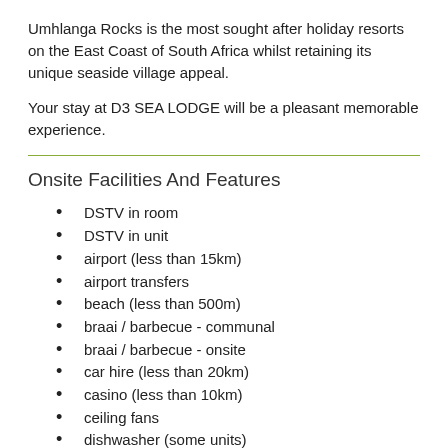Umhlanga Rocks is the most sought after holiday resorts on the East Coast of South Africa whilst retaining its unique seaside village appeal.
Your stay at D3 SEA LODGE will be a pleasant memorable experience.
Onsite Facilities And Features
DSTV in room
DSTV in unit
airport (less than 15km)
airport transfers
beach (less than 500m)
braai / barbecue - communal
braai / barbecue - onsite
car hire (less than 20km)
casino (less than 10km)
ceiling fans
dishwasher (some units)
dishwasher onsite